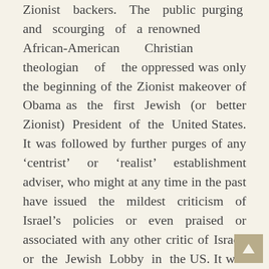Zionist backers. The public purging and scourging of a renowned African-American Christian theologian of the oppressed was only the beginning of the Zionist makeover of Obama as the first Jewish (or better Zionist) President of the United States. It was followed by further purges of any ‘centrist’ or ‘realist’ establishment adviser, who might at any time in the past have issued the mildest criticism of Israel’s policies or even praised or associated with any other critic of Israel or the Jewish Lobby in the US. It was ‘guilt by association’.

    The Zionofascists soon